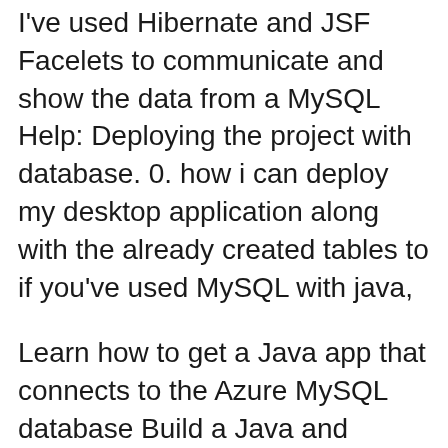I've used Hibernate and JSF Facelets to communicate and show the data from a MySQL Help: Deploying the project with database. 0. how i can deploy my desktop application along with the already created tables to if you've used MySQL with java,
Learn how to get a Java app that connects to the Azure MySQL database Build a Java and MySQL web app Connect a sample app to the database; Deploy the app 2016-08-18B B· Announcing MySQL in-app for Web You cannot directly deploy you database . Having trouble to let my Java Web App connect to the MySQL In-App